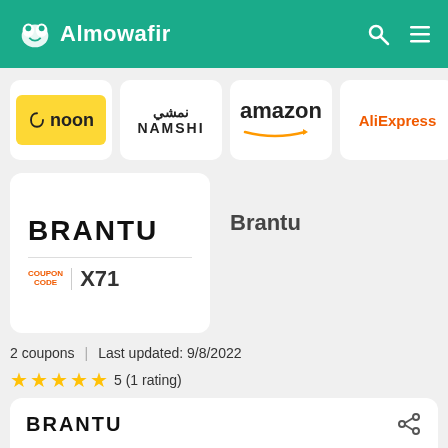Almowafir
[Figure (logo): Noon yellow logo tile]
[Figure (logo): Namshi logo tile]
[Figure (logo): Amazon logo tile]
[Figure (logo): AliExpress logo tile]
[Figure (logo): BRANTU brand card with coupon code X71]
Brantu
2 coupons | Last updated: 9/8/2022
5 (1 rating)
[Figure (logo): BRANTU logo in bottom card with share icon]